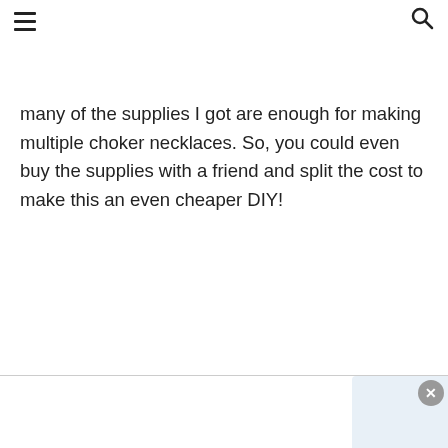many of the supplies I got are enough for making multiple choker necklaces. So, you could even buy the supplies with a friend and split the cost to make this an even cheaper DIY!